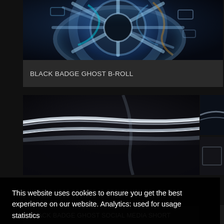[Figure (photo): Close-up of a car alloy wheel with blue and teal lighting accents on dark background]
BLACK BADGE GHOST B-ROLL
[Figure (photo): Close-up of curved chrome car body trim detail on dark background]
This website uses cookies to ensure you get the best experience on our website. Analytics: used for usage statistics
Our Privacy Policy
Decline
Allow cookies
BLACK BADGE GHOST SOCIAL MEDIA SHORT